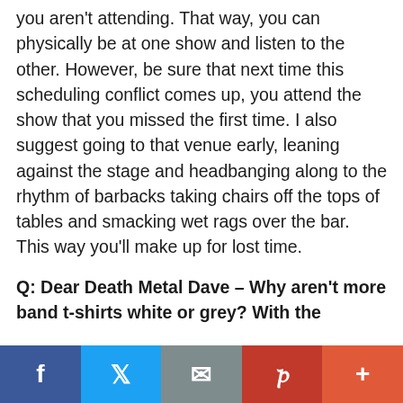you aren't attending. That way, you can physically be at one show and listen to the other. However, be sure that next time this scheduling conflict comes up, you attend the show that you missed the first time. I also suggest going to that venue early, leaning against the stage and headbanging along to the rhythm of barbacks taking chairs off the tops of tables and smacking wet rags over the bar. This way you'll make up for lost time.
Q: Dear Death Metal Dave – Why aren't more band t-shirts white or grey? With the
[Figure (other): Social sharing bar with buttons for Facebook, Twitter, Email, Pinterest, and More (+)]